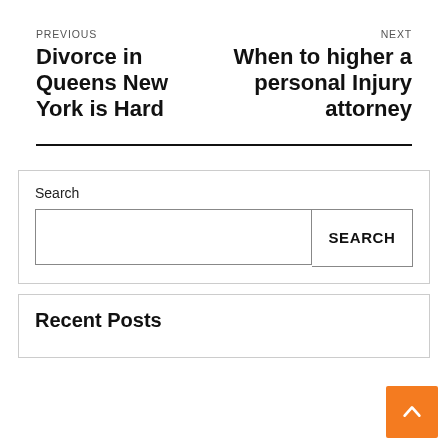PREVIOUS
Divorce in Queens New York is Hard
NEXT
When to higher a personal Injury attorney
Search
SEARCH
Recent Posts